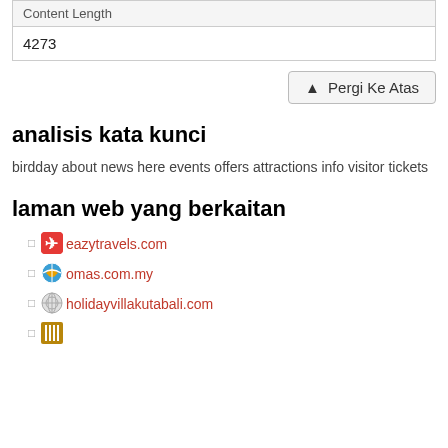| Content Length |
| --- |
| 4273 |
▲ Pergi Ke Atas
analisis kata kunci
birdday about news here events offers attractions info visitor tickets
laman web yang berkaitan
eazytravels.com
omas.com.my
holidayvillakutabali.com
(fourth item partial)